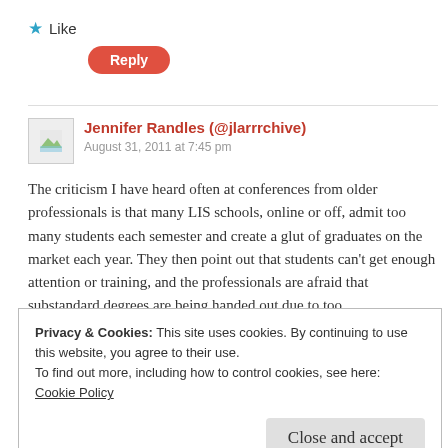★ Like
Reply
Jennifer Randles (@jlarrrchive)
August 31, 2011 at 7:45 pm
The criticism I have heard often at conferences from older professionals is that many LIS schools, online or off, admit too many students each semester and create a glut of graduates on the market each year. They then point out that students can't get enough attention or training, and the professionals are afraid that substandard degrees are being handed out due to too
Privacy & Cookies: This site uses cookies. By continuing to use this website, you agree to their use.
To find out more, including how to control cookies, see here:
Cookie Policy
Close and accept
younger professionals and students.